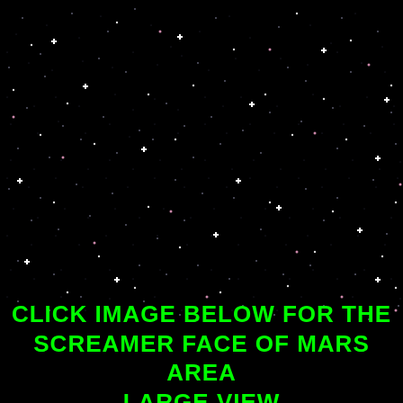[Figure (photo): A starfield photograph showing a black sky filled with numerous stars of varying brightness, some appearing white with cross-shaped diffraction spikes, others small and pink or blue-white, scattered across the entire image — resembling a deep-space astronomical photograph.]
CLICK IMAGE BELOW FOR THE SCREAMER FACE OF MARS AREA LARGE VIEW